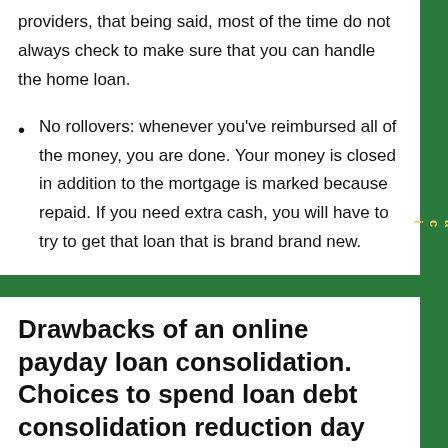providers, that being said, most of the time do not always check to make sure that you can handle the home loan.
No rollovers: whenever you've reimbursed all of the money, you are done. Your money is closed in addition to the mortgage is marked because repaid. If you need extra cash, you will have to try to get that loan that is brand brand new.
Drawbacks of an online payday loan consolidation. Choices to spend loan debt consolidation reduction day